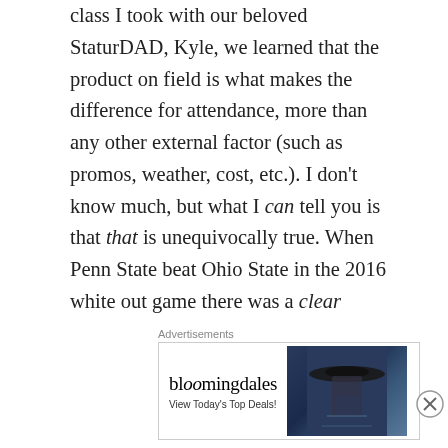class I took with our beloved StaturDAD, Kyle, we learned that the product on field is what makes the difference for attendance, more than any other external factor (such as promos, weather, cost, etc.). I don't know much, but what I can tell you is that that is unequivocally true. When Penn State beat Ohio State in the 2016 white out game there was a clear difference in the way the community behaved. The campus and surrounding areas came alive and it hasn't died down yet, not 3 years later. Penn State Football demanded our attention, and boy did it suck me right in. I was hooked and since then I haven't been able to unattach myself, even if I
Advertisements
[Figure (other): Bloomingdale's advertisement showing logo, 'View Today's Top Deals!' text, an image of a woman in a wide-brim hat, and a 'SHOP NOW >' button]